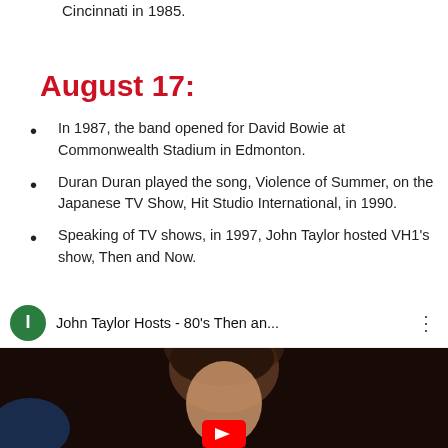Cincinnati in 1985.
August 17:
In 1987, the band opened for David Bowie at Commonwealth Stadium in Edmonton.
Duran Duran played the song, Violence of Summer, on the Japanese TV Show, Hit Studio International, in 1990.
Speaking of TV shows, in 1997, John Taylor hosted VH1's show, Then and Now.
[Figure (screenshot): YouTube video thumbnail showing John Taylor Hosts - 80's Then an... with a green channel icon and a man's face in the thumbnail]